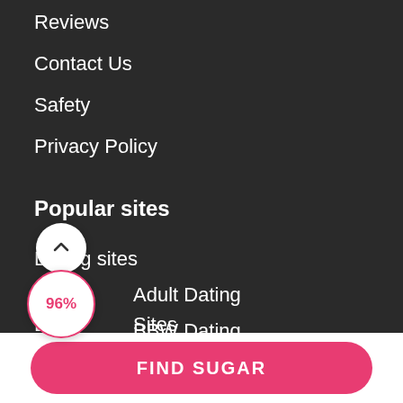Reviews
Contact Us
Safety
Privacy Policy
Popular sites
Dating sites
Adult Dating
BBW Dating
Cam Sites
FIND SUGAR